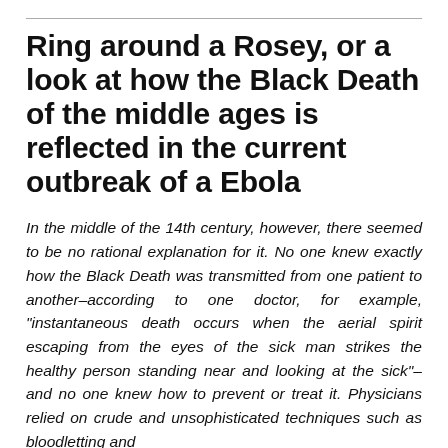Ring around a Rosey, or a look at how the Black Death of the middle ages is reflected in the current outbreak of a Ebola
In the middle of the 14th century, however, there seemed to be no rational explanation for it. No one knew exactly how the Black Death was transmitted from one patient to another–according to one doctor, for example, "instantaneous death occurs when the aerial spirit escaping from the eyes of the sick man strikes the healthy person standing near and looking at the sick"–and no one knew how to prevent or treat it. Physicians relied on crude and unsophisticated techniques such as bloodletting and